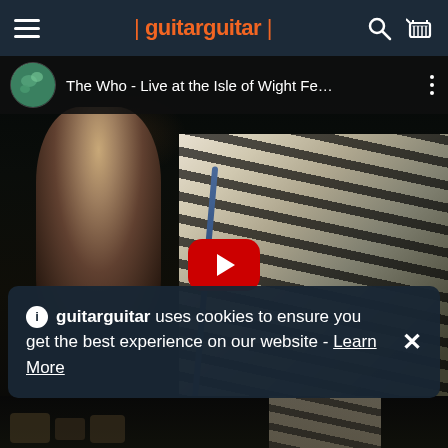guitarguitar
[Figure (screenshot): YouTube video thumbnail showing The Who - Live at the Isle of Wight Festival, with a dark concert scene showing a performer in a striped costume and a YouTube play button overlay]
guitarguitar uses cookies to ensure you get the best experience on our website - Learn More